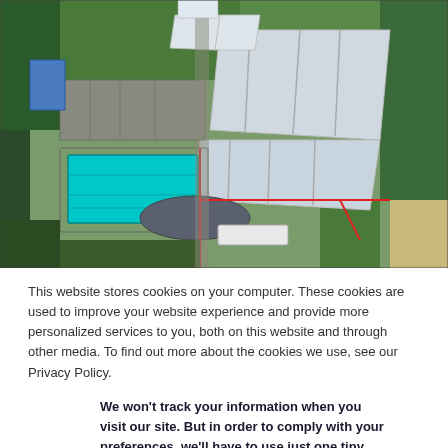[Figure (photo): Aerial view of an industrial or sports complex with large warehouse/factory rooftops, a swimming pool on the left side, green lawn areas, red boundary markings, and residential/tree areas surrounding. The image is a 3D rendered or drone aerial photograph.]
This website stores cookies on your computer. These cookies are used to improve your website experience and provide more personalized services to you, both on this website and through other media. To find out more about the cookies we use, see our Privacy Policy.
We won't track your information when you visit our site. But in order to comply with your preferences, we'll have to use just one tiny cookie so that you're not asked to make this choice again.